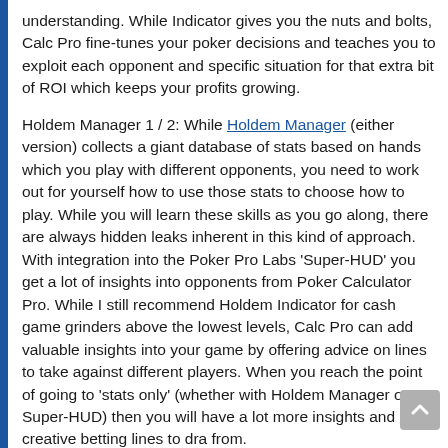understanding. While Indicator gives you the nuts and bolts, Calc Pro fine-tunes your poker decisions and teaches you to exploit each opponent and specific situation for that extra bit of ROI which keeps your profits growing.
Holdem Manager 1 / 2: While Holdem Manager (either version) collects a giant database of stats based on hands which you play with different opponents, you need to work out for yourself how to use those stats to choose how to play. While you will learn these skills as you go along, there are always hidden leaks inherent in this kind of approach. With integration into the Poker Pro Labs 'Super-HUD' you get a lot of insights into opponents from Poker Calculator Pro. While I still recommend Holdem Indicator for cash game grinders above the lowest levels, Calc Pro can add valuable insights into your game by offering advice on lines to take against different players. When you reach the point of going to 'stats only' (whether with Holdem Manager or Super-HUD) then you will have a lot more insights and creative betting lines to draw from.